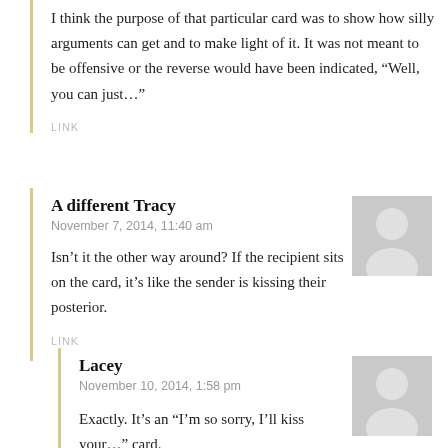I think the purpose of that particular card was to show how silly arguments can get and to make light of it. It was not meant to be offensive or the reverse would have been indicated, “Well, you can just…”
LINK
A different Tracy
November 7, 2014, 11:40 am
Isn’t it the other way around? If the recipient sits on the card, it’s like the sender is kissing their posterior.
LINK
Lacey
November 10, 2014, 1:58 pm
Exactly. It’s an “I’m so sorry, I’ll kiss your…” card.